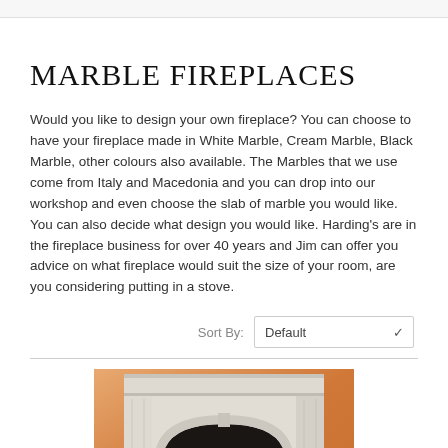MARBLE FIREPLACES
Would you like to design your own fireplace? You can choose to have your fireplace made in White Marble, Cream Marble, Black Marble, other colours also available. The Marbles that we use come from Italy and Macedonia and you can drop into our workshop and even choose the slab of marble you would like. You can also decide what design you would like. Harding's are in the fireplace business for over 40 years and Jim can offer you advice on what fireplace would suit the size of your room, are you considering putting in a stove.
Sort By: Default
[Figure (photo): A white marble fireplace surround with an arched opening, shown against an orange/peach colored wall background.]